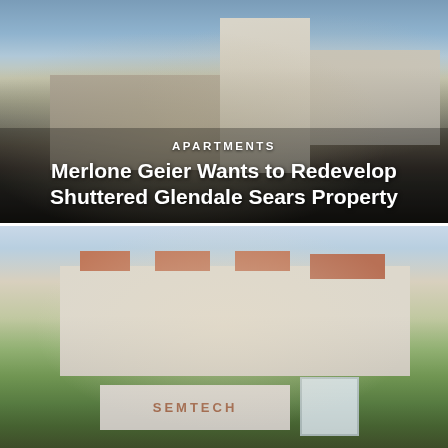[Figure (photo): Exterior street-level photo of a shuttered Sears building in Glendale, California. Large beige concrete commercial structure with street intersection visible in foreground, trees on left, cloudy blue sky above.]
APARTMENTS
Merlone Geier Wants to Redevelop Shuttered Glendale Sears Property
[Figure (photo): Exterior photo of Semtech corporate campus in Camarillo or similar Southern California location. Low-rise beige stucco office buildings with red-tiled hip roofs, surrounded by green lawns and palm trees. A white monument sign reading SEMTECH with the company logo is visible in the foreground.]